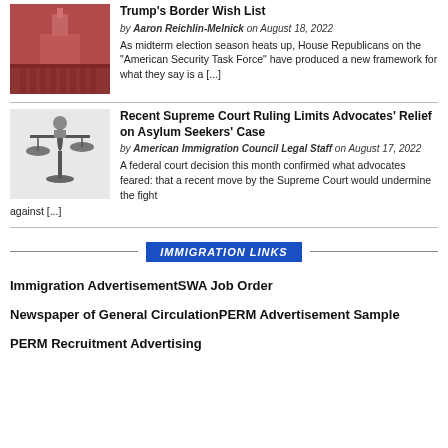Trump's Border Wish List
by Aaron Reichlin-Melnick on August 18, 2022
As midterm election season heats up, House Republicans on the “American Security Task Force” have produced a new framework for what they say is a […]
Recent Supreme Court Ruling Limits Advocates’ Relief on Asylum Seekers’ Case
by American Immigration Council Legal Staff on August 17, 2022
A federal court decision this month confirmed what advocates feared: that a recent move by the Supreme Court would undermine the fight against […]
IMMIGRATION LINKS
Immigration AdvertisementSWA Job Order
Newspaper of General CirculationPERM Advertisement Sample
PERM Recruitment Advertising